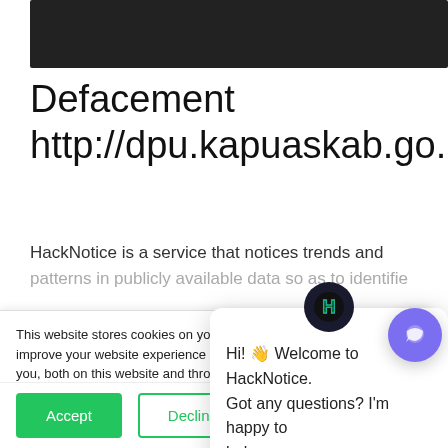[Figure (screenshot): Dark navigation bar at top of webpage]
Defacement http://dpu.kapuaskab.go.id/k.htm
HackNotice is a service that notices trends and patterns in publicly available data so as to identify...
This website stores cookies on your computer. These are used to improve your website experience you, both on this website and through cookies we use, see our Privacy P...
We won't track your site. But in order to c we'll have to use jus not asked to make this choice again.
Hi! 👋 Welcome to HackNotice. Got any questions? I'm happy to help.
Accept  Decline